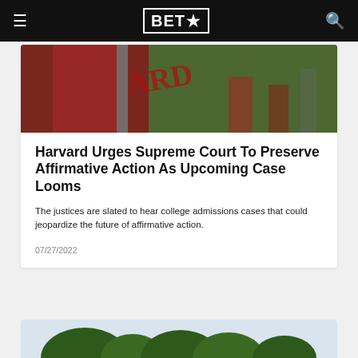BET★
[Figure (photo): Photo showing a Harvard banner or flag being held, with people in red in the background]
Harvard Urges Supreme Court To Preserve Affirmative Action As Upcoming Case Looms
The justices are slated to hear college admissions cases that could jeopardize the future of affirmative action.
07/27/2022
[Figure (photo): Partial photo showing tree tops against a light sky, bottom of page]